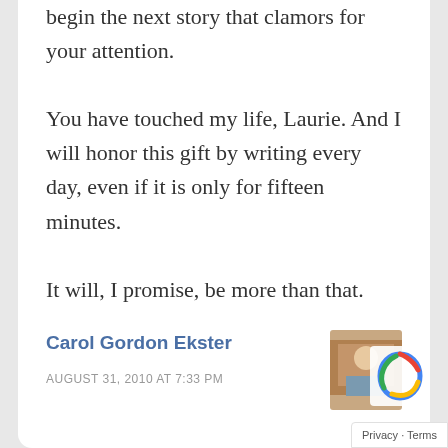begin the next story that clamors for your attention.
You have touched my life, Laurie. And I will honor this gift by writing every day, even if it is only for fifteen minutes.
It will, I promise, be more than that.
↩ Reply
Carol Gordon Ekster
AUGUST 31, 2010 AT 7:33 PM